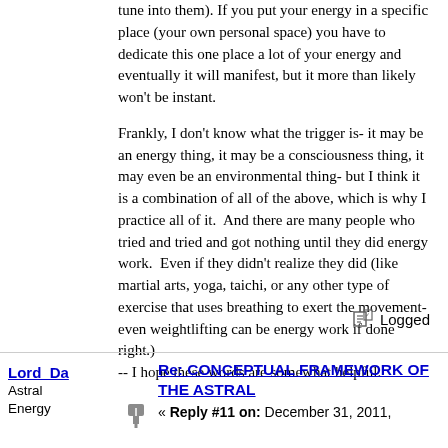tune into them). If you put your energy in a specific place (your own personal space) you have to dedicate this one place a lot of your energy and eventually it will manifest, but it more than likely won't be instant.

Frankly, I don't know what the trigger is- it may be an energy thing, it may be a consciousness thing, it may even be an environmental thing- but I think it is a combination of all of the above, which is why I practice all of it.  And there are many people who tried and tried and got nothing until they did energy work.  Even if they didn't realize they did (like martial arts, yoga, taichi, or any other type of exercise that uses breathing to exert the movement- even weightlifting can be energy work if done right.)
-- I hope these words are somewhat helpful.
Logged
Lord Da
Astral Energy
Re: CONCEPTUAL FRAMEWORK OF THE ASTRAL
« Reply #11 on: December 31, 2011,